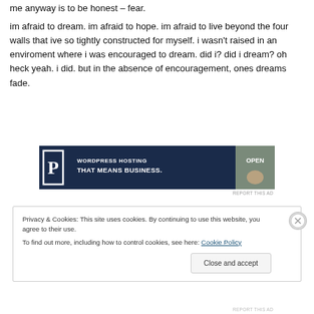me anyway is to be honest – fear.
im afraid to dream. im afraid to hope. im afraid to live beyond the four walls that ive so tightly constructed for myself. i wasn't raised in an enviroment where i was encouraged to dream. did i? did i dream? oh heck yeah. i did. but in the absence of encouragement, ones dreams fade.
[Figure (screenshot): WordPress hosting advertisement banner: dark navy background with large 'P' letter logo, text 'WORDPRESS HOSTING THAT MEANS BUSINESS.' and 'OPEN' text on right side with a hand image.]
REPORT THIS AD
Privacy & Cookies: This site uses cookies. By continuing to use this website, you agree to their use.
To find out more, including how to control cookies, see here: Cookie Policy
Close and accept
REPORT THIS AD